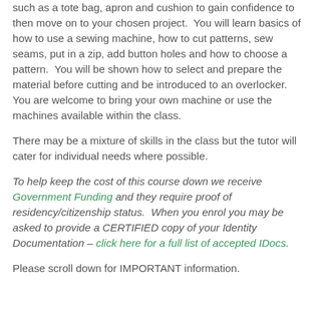such as a tote bag, apron and cushion to gain confidence to then move on to your chosen project.  You will learn basics of how to use a sewing machine, how to cut patterns, sew seams, put in a zip, add button holes and how to choose a pattern.  You will be shown how to select and prepare the material before cutting and be introduced to an overlocker.  You are welcome to bring your own machine or use the machines available within the class.
There may be a mixture of skills in the class but the tutor will cater for individual needs where possible.
To help keep the cost of this course down we receive Government Funding and they require proof of residency/citizenship status.  When you enrol you may be asked to provide a CERTIFIED copy of your Identity Documentation – click here for a full list of accepted IDocs.
Please scroll down for IMPORTANT information.